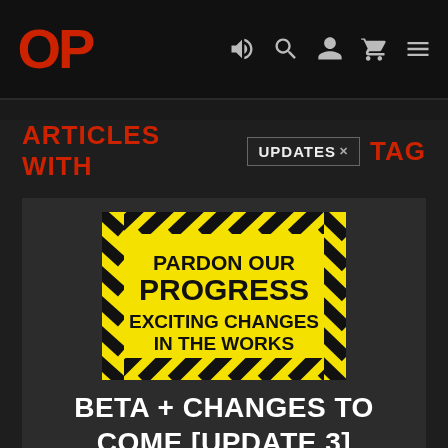OP [logo] | icons: speaker, search, user, cart, menu
ARTICLES WITH UPDATES× TAG
[Figure (illustration): Yellow construction warning sign with black diagonal stripes border. Text reads: PARDON OUR PROGRESS EXCITING CHANGES IN THE WORKS]
BETA + CHANGES TO COME [UPDATE 3]